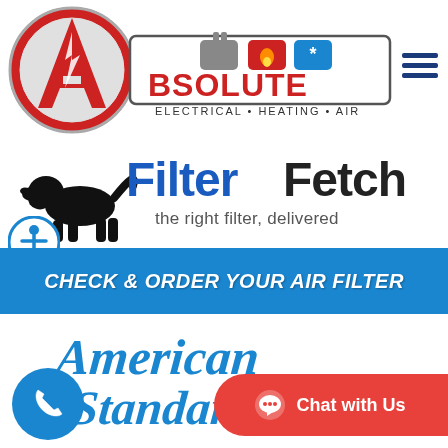[Figure (logo): Absolute Electrical Heating Air company logo with red A in circle and service icons]
[Figure (logo): FilterFetch logo with dog silhouette and tagline 'the right filter, delivered']
[Figure (infographic): Blue banner with white italic bold text: CHECK & ORDER YOUR AIR FILTER]
[Figure (logo): American Standard logo in blue cursive script]
[Figure (illustration): Blue circular phone call button]
[Figure (illustration): Red pill-shaped Chat with Us button]